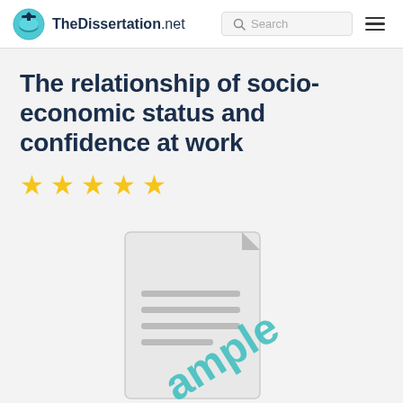TheDissertation.net
The relationship of socio-economic status and confidence at work
[Figure (other): Five yellow star rating icons]
[Figure (illustration): A document/file icon with the word 'sample' written diagonally in teal/cyan color across it, with gray horizontal lines representing text]